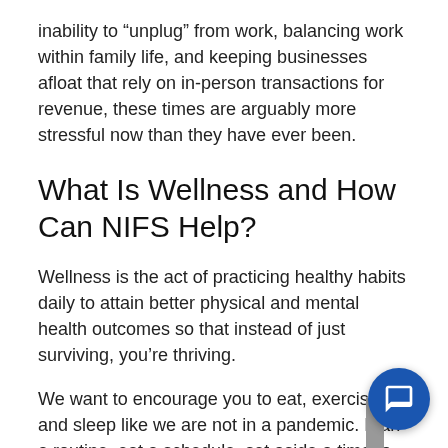inability to “unplug” from work, balancing work within family life, and keeping businesses afloat that rely on in-person transactions for revenue, these times are arguably more stressful now than they have ever been.
What Is Wellness and How Can NIFS Help?
Wellness is the act of practicing healthy habits daily to attain better physical and mental health outcomes so that instead of just surviving, you’re thriving.
We want to encourage you to eat, exercise, and sleep like we are not in a pandemic. Plan a routine, eat a schedule, set aside a time to increase your heart rate and rest.